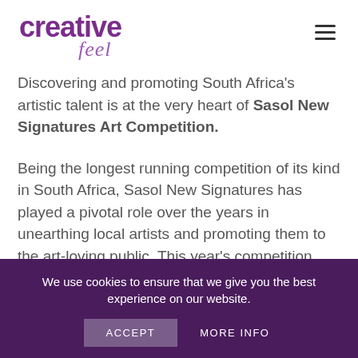[Figure (logo): Creative Feel magazine logo in purple/violet script font]
Discovering and promoting South Africa's artistic talent is at the very heart of Sasol New Signatures Art Competition.
Being the longest running competition of its kind in South Africa, Sasol New Signatures has played a pivotal role over the years in unearthing local artists and promoting them to the art-loving public. This year's competition intends to
We use cookies to ensure that we give you the best experience on our website.
ACCEPT
MORE INFO